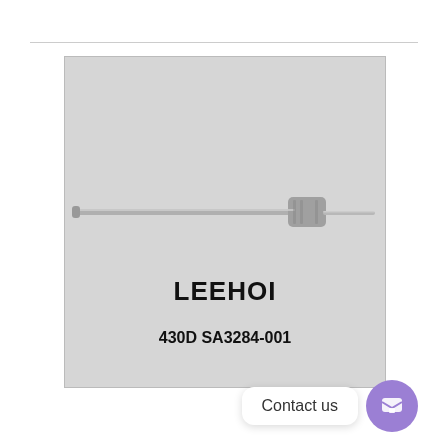[Figure (photo): Product photo of a long thin metallic shaft/rod with a cylindrical connector fitting near one end, branded LEEHOI, part number 430D SA3284-001. The rod is slender and silver/steel colored.]
Contact us